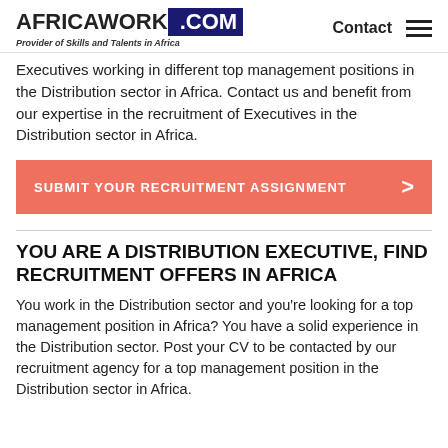AFRICAWORK .COM — Provider of Skills and Talents in Africa — Contact
Executives working in different top management positions in the Distribution sector in Africa. Contact us and benefit from our expertise in the recruitment of Executives in the Distribution sector in Africa.
SUBMIT YOUR RECRUITMENT ASSIGNMENT
YOU ARE A DISTRIBUTION EXECUTIVE, FIND RECRUITMENT OFFERS IN AFRICA
You work in the Distribution sector and you're looking for a top management position in Africa? You have a solid experience in the Distribution sector. Post your CV to be contacted by our recruitment agency for a top management position in the Distribution sector in Africa.